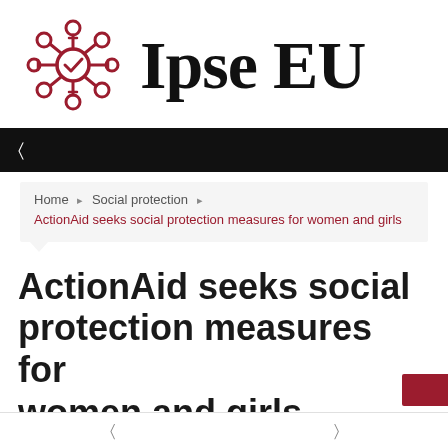[Figure (logo): Ipse EU logo with a circular network/gear icon in dark red/maroon and the text 'Ipse EU' in bold serif font]
[Figure (screenshot): Black navigation bar with a white menu icon (hamburger/bracket icon) on the left]
Home ▸ Social protection ▸ ActionAid seeks social protection measures for women and girls
ActionAid seeks social protection measures for women and girls